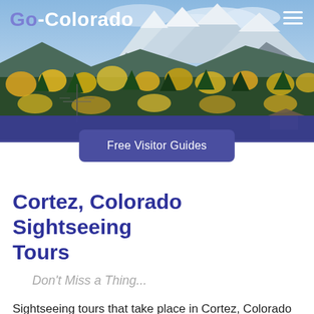[Figure (photo): Panoramic Colorado mountain landscape photo showing snow-capped peaks, green and yellow autumn forests in the foreground, used as website header banner]
Go-Colorado
Free Visitor Guides
Cortez, Colorado Sightseeing Tours
Don't Miss a Thing...
Sightseeing tours that take place in Cortez, Colorado